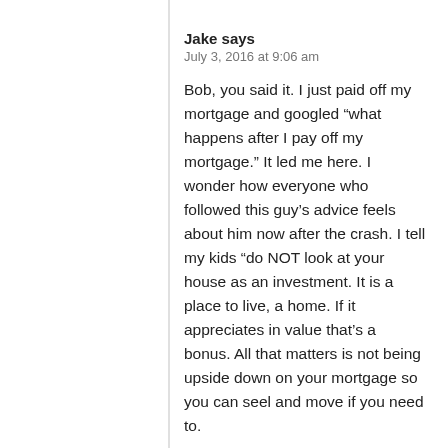Jake says
July 3, 2016 at 9:06 am
Bob, you said it. I just paid off my mortgage and googled “what happens after I pay off my mortgage.” It led me here. I wonder how everyone who followed this guy’s advice feels about him now after the crash. I tell my kids “do NOT look at your house as an investment. It is a place to live, a home. If it appreciates in value that’s a bonus. All that matters is not being upside down on your mortgage so you can seel and move if you need to.
Reply